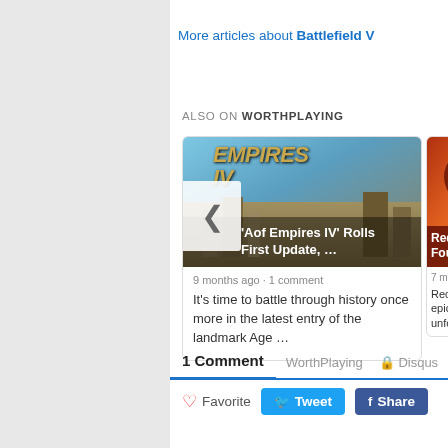More articles about Battlefield V
ALSO ON WORTHPLAYING
[Figure (screenshot): Article card for 'Age of Empires IV Rolls First Update, ...' showing game logo and screenshot, 9 months ago, 1 comment. Text: It's time to battle through history once more in the latest entry of the landmark Age ...]
[Figure (screenshot): Partially visible article card for 'Red D... Four W...' showing game art, 7 months ago. Text: Red Dea... epic tale... unforgi...]
1 Comment	WorthPlaying	Disqus
Favorite  Tweet  Share